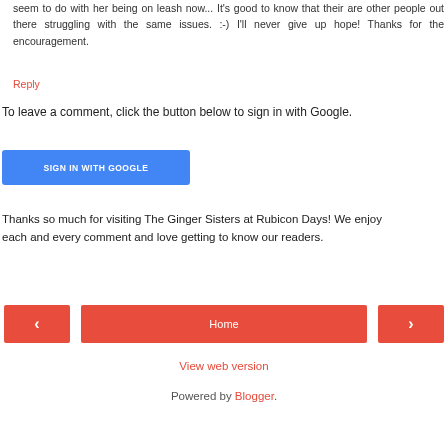seem to do with her being on leash now... It's good to know that their are other people out there struggling with the same issues. :-) I'll never give up hope! Thanks for the encouragement.
Reply
To leave a comment, click the button below to sign in with Google.
SIGN IN WITH GOOGLE
Thanks so much for visiting The Ginger Sisters at Rubicon Days! We enjoy each and every comment and love getting to know our readers.
‹
Home
›
View web version
Powered by Blogger.